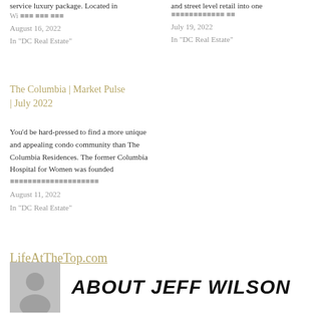service luxury package. Located in
August 16, 2022
In "DC Real Estate"
and street level retail into one
July 19, 2022
In "DC Real Estate"
The Columbia | Market Pulse | July 2022
You’d be hard-pressed to find a more unique and appealing condo community than The Columbia Residences. The former Columbia Hospital for Women was founded
August 11, 2022
In "DC Real Estate"
LifeAtTheTop.com
ABOUT JEFF WILSON